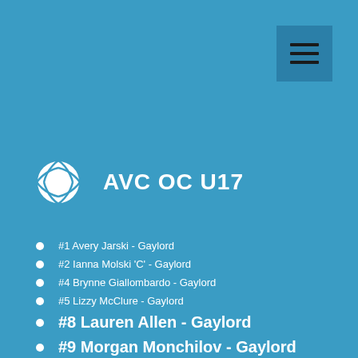[Figure (logo): Menu hamburger icon button — dark blue square with three horizontal lines]
AVC OC U17
#1 Avery Jarski - Gaylord
#2 Ianna Molski 'C' - Gaylord
#4 Brynne Giallombardo - Gaylord
#5 Lizzy McClure - Gaylord
#8 Lauren Allen - Gaylord
#9 Morgan Monchilov - Gaylord
#10 Rahzi Welch 'C' - Gaylord
#14 Madison Marsack - Gaylord